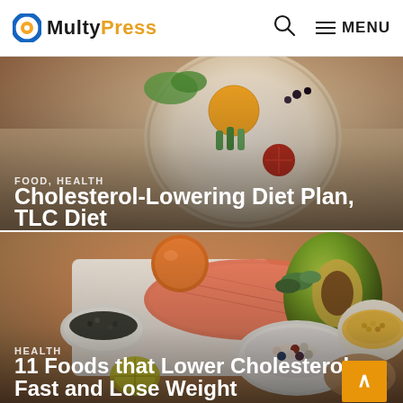MultyPress  🔍  ≡ MENU
[Figure (photo): Food items including fruits and vegetables arranged on a plate, viewed from above on a light background]
FOOD, HEALTH
Cholesterol-Lowering Diet Plan, TLC Diet
[Figure (photo): Healthy foods for lowering cholesterol including salmon, avocado, seeds, beans, lentils, and nuts arranged on a white surface]
HEALTH
11 Foods that Lower Cholesterol Fast and Lose Weight